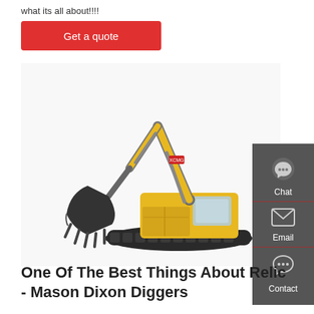what its all about!!!!
Get a quote
[Figure (photo): Yellow construction excavator/digger with raised arm and bucket, positioned on white background]
[Figure (infographic): Dark grey sidebar with three contact options: Chat (headset icon), Email (envelope icon), Contact (speech bubble icon), each separated by a red horizontal line]
One Of The Best Things About Relic - Mason Dixon Diggers